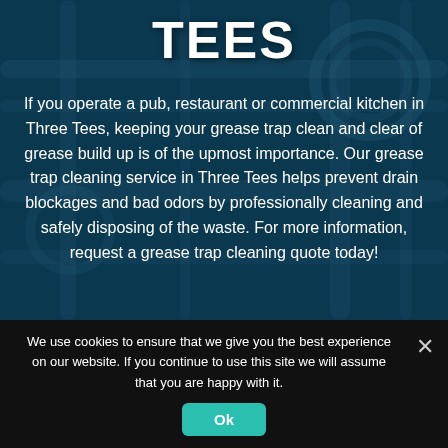TEES
If you operate a pub, restaurant or commercial kitchen in Three Tees, keeping your grease trap clean and clear of grease build up is of the upmost importance. Our grease trap cleaning service in Three Tees helps prevent drain blockages and bad odors by professionally cleaning and safely disposing of the waste. For more information, request a grease trap cleaning quote today!
We use cookies to ensure that we give you the best experience on our website. If you continue to use this site we will assume that you are happy with it.